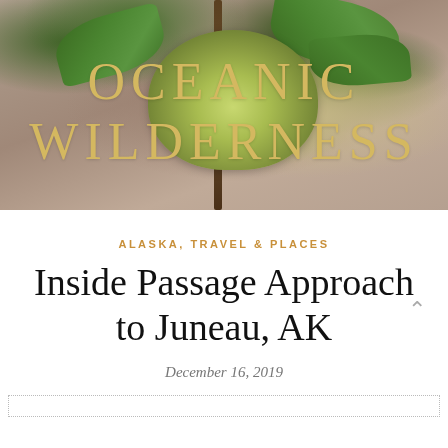[Figure (photo): Close-up photograph of a plant with green flower buds cluster and green leaves on a blurred brown/taupe background. Text overlay reads OCEANIC WILDERNESS in golden serif letters.]
OCEANIC
WILDERNESS
ALASKA, TRAVEL & PLACES
Inside Passage Approach to Juneau, AK
December 16, 2019